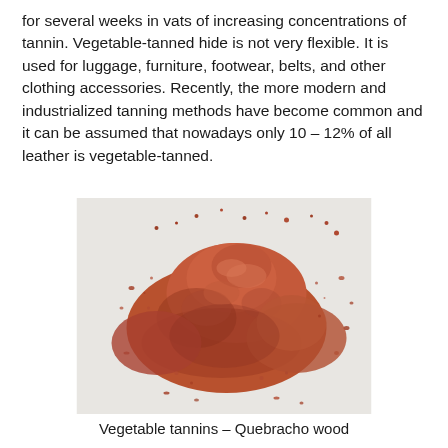for several weeks in vats of increasing concentrations of tannin. Vegetable-tanned hide is not very flexible. It is used for luggage, furniture, footwear, belts, and other clothing accessories. Recently, the more modern and industrialized tanning methods have become common and it can be assumed that nowadays only 10 – 12% of all leather is vegetable-tanned.
[Figure (photo): A pile of reddish-brown powder (vegetable tannins from Quebracho wood) scattered on a white surface.]
Vegetable tannins – Quebracho wood